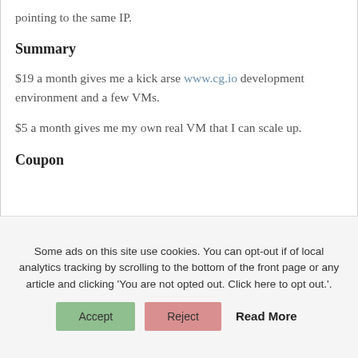pointing to the same IP.
Summary
$19 a month gives me a kick arse www.cg.io development environment and a few VMs.
$5 a month gives me my own real VM that I can scale up.
Coupon
Some ads on this site use cookies. You can opt-out if of local analytics tracking by scrolling to the bottom of the front page or any article and clicking 'You are not opted out. Click here to opt out.'.